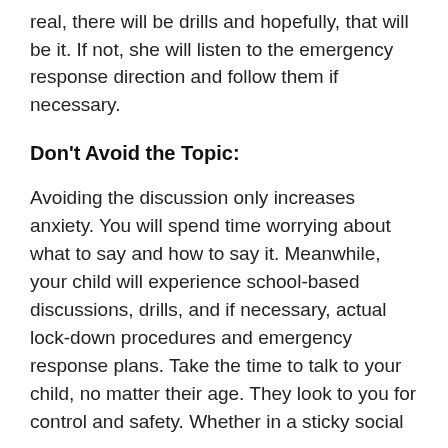real, there will be drills and hopefully, that will be it. If not, she will listen to the emergency response direction and follow them if necessary.
Don't Avoid the Topic:
Avoiding the discussion only increases anxiety. You will spend time worrying about what to say and how to say it. Meanwhile, your child will experience school-based discussions, drills, and if necessary, actual lock-down procedures and emergency response plans. Take the time to talk to your child, no matter their age. They look to you for control and safety. Whether in a sticky social